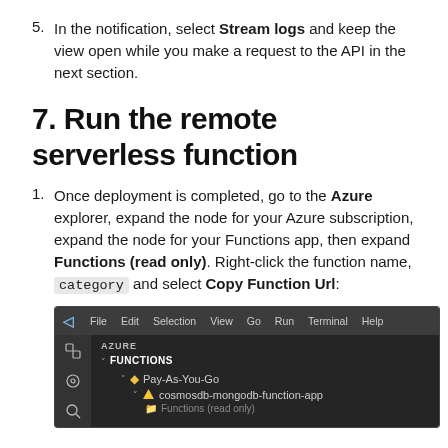5. In the notification, select Stream logs and keep the view open while you make a request to the API in the next section.
7. Run the remote serverless function
1. Once deployment is completed, go to the Azure explorer, expand the node for your Azure subscription, expand the node for your Functions app, then expand Functions (read only). Right-click the function name, category and select Copy Function Url:
[Figure (screenshot): VS Code screenshot showing the Azure explorer panel with FUNCTIONS section expanded, showing Pay-As-You-Go subscription and cosmosdb-mongodb-function-app node.]